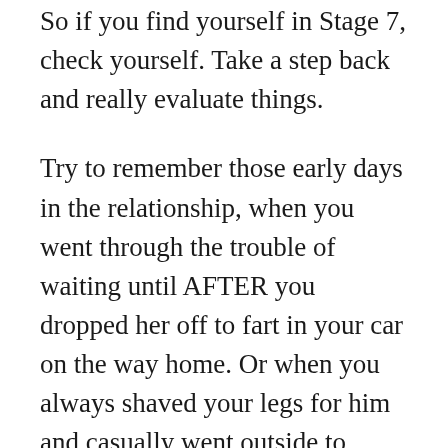So if you find yourself in Stage 7, check yourself. Take a step back and really evaluate things.
Try to remember those early days in the relationship, when you went through the trouble of waiting until AFTER you dropped her off to fart in your car on the way home. Or when you always shaved your legs for him and casually went outside to “check something” before you farted. Remember the romance of holding in your farts. Because while it’s in no way realistic in a long term relationship to ACTUALLY hold them in, it’s a reminder of a time when we did go out of our way, even gastrointestinally, for the person we love.